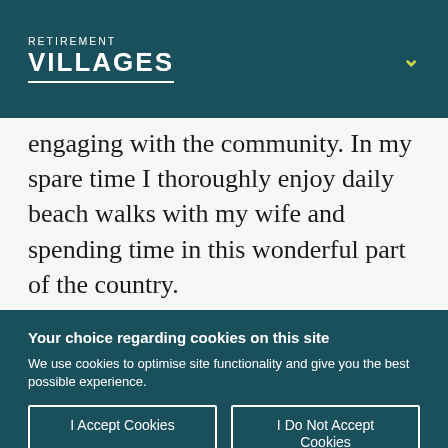RETIREMENT VILLAGES
engaging with the community. In my spare time I thoroughly enjoy daily beach walks with my wife and spending time in this wonderful part of the country.
Your choice regarding cookies on this site
We use cookies to optimise site functionality and give you the best possible experience.
I Accept Cookies
I Do Not Accept Cookies
Settings